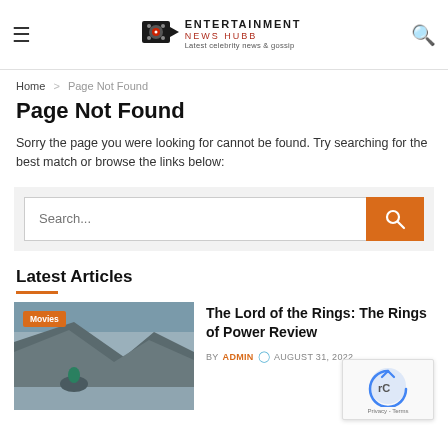ENTERTAINMENT NEWS HUBB | Latest celebrity news & gossip
Home > Page Not Found
Page Not Found
Sorry the page you were looking for cannot be found. Try searching for the best match or browse the links below:
Latest Articles
The Lord of the Rings: The Rings of Power Review
BY ADMIN  AUGUST 31, 2022